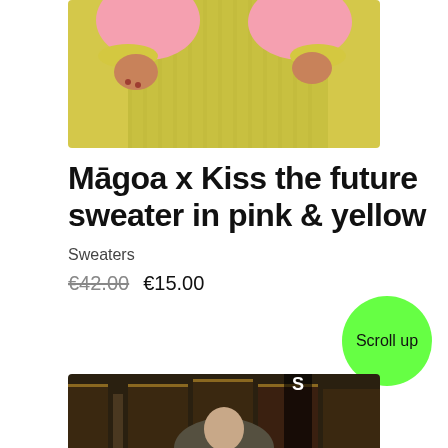[Figure (photo): Close-up of a person wearing a pink sweater and yellow corduroy wide-leg pants against a yellow background, showing torso and hands]
Māgoa x Kiss the future sweater in pink & yellow
Sweaters
€42.00  €15.00
[Figure (photo): Bottom portion of a second product image showing a person in what appears to be an indoor setting with ornate furniture]
Scroll up